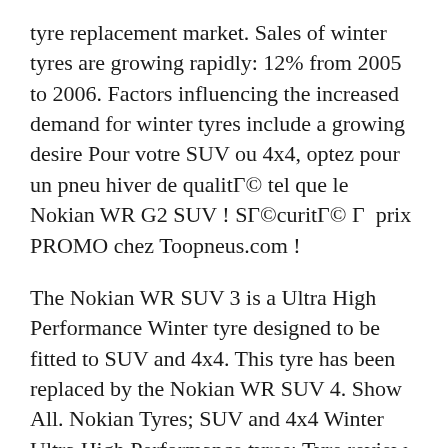tyre replacement market. Sales of winter tyres are growing rapidly: 12% from 2005 to 2006. Factors influencing the increased demand for winter tyres include a growing desire Pour votre SUV ou 4x4, optez pour un pneu hiver de qualitГ© tel que le Nokian WR G2 SUV ! SГ©curitГ© Г  prix PROMO chez Toopneus.com !
The Nokian WR SUV 3 is a Ultra High Performance Winter tyre designed to be fitted to SUV and 4x4. This tyre has been replaced by the Nokian WR SUV 4. Show All. Nokian Tyres; SUV and 4x4 Winter Ultra High Performance tyres; Tyre review data from 15 tyre reviews averaging 82% over 107,000 miles driven.. Latest Group Test Results Nokian WR G2 SUV tires